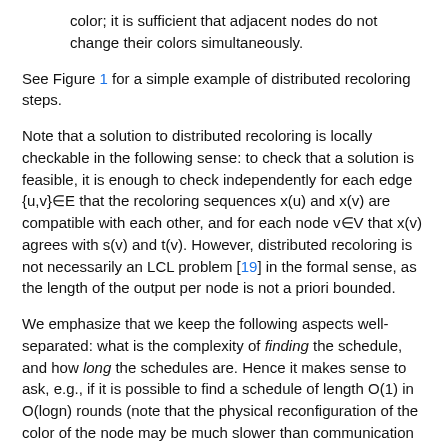color; it is sufficient that adjacent nodes do not change their colors simultaneously.
See Figure 1 for a simple example of distributed recoloring steps.
Note that a solution to distributed recoloring is locally checkable in the following sense: to check that a solution is feasible, it is enough to check independently for each edge {u,v}∈E that the recoloring sequences x(u) and x(v) are compatible with each other, and for each node v∈V that x(v) agrees with s(v) and t(v). However, distributed recoloring is not necessarily an LCL problem [19] in the formal sense, as the length of the output per node is not a priori bounded.
We emphasize that we keep the following aspects well-separated: what is the complexity of finding the schedule, and how long the schedules are. Hence it makes sense to ask, e.g., if it is possible to find a schedule of length O(1) in O(logn) rounds (note that the physical reconfiguration of the color of the node may be much slower than communication and computation).